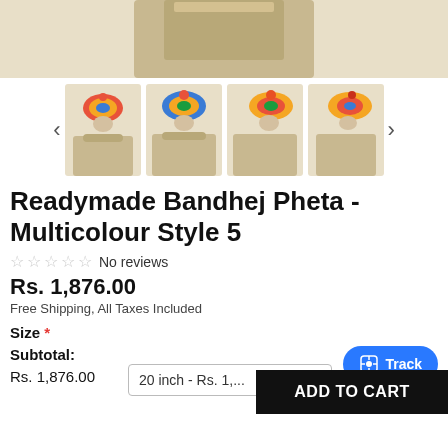[Figure (photo): Top portion of a man wearing a golden/beige kurta, cropped showing torso/chest area only]
[Figure (photo): Thumbnail carousel showing four images of a man wearing a multicolour Bandhej turban/pheta with golden kurta, shown from slightly different angles. Left and right navigation arrows visible.]
Readymade Bandhej Pheta - Multicolour Style 5
☆☆☆☆☆ No reviews
Rs. 1,876.00
Free Shipping, All Taxes Included
Size *
Subtotal:
Rs. 1,876.00
20 inch - Rs. 1,...
Track
ADD TO CART